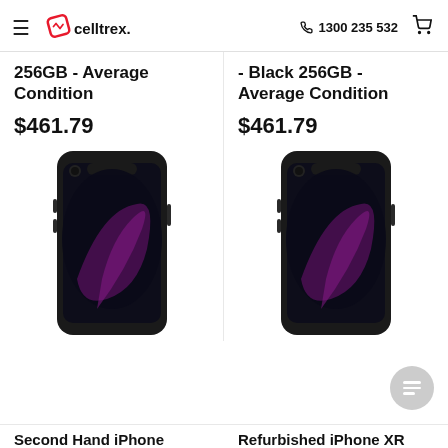celltrex. | 1300 235 532
256GB - Average Condition
$461.79
- Black 256GB - Average Condition
$461.79
[Figure (photo): Black iPhone XR product photo, front view]
[Figure (photo): Black iPhone XR product photo, front view]
Second Hand iPhone
Refurbished iPhone XR